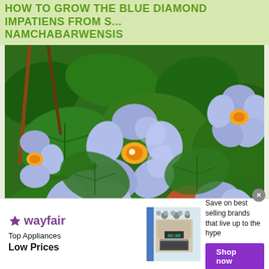HOW TO GROW THE BLUE DIAMOND IMPATIENS FROM SEED: Impatiens namchabarwensis
[Figure (photo): Close-up photograph of Blue Diamond Impatiens (Impatiens namchabarwensis) flowers - lavender-blue flowers with yellow-orange centers amid dark green textured leaves]
[Figure (other): Wayfair advertisement banner: Top Appliances Low Prices - Save on best selling brands that live up to the hype - Shop now button]